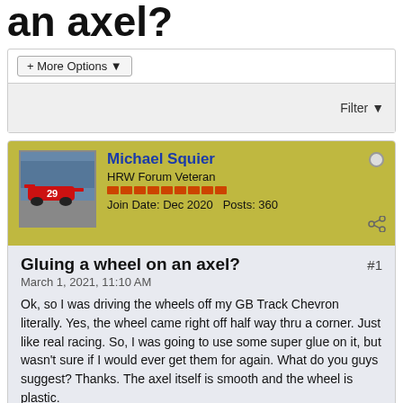an axel?
+ More Options
Filter
Michael Squier
HRW Forum Veteran
Join Date: Dec 2020  Posts: 360
Gluing a wheel on an axel?
March 1, 2021, 11:10 AM
Ok, so I was driving the wheels off my GB Track Chevron literally. Yes, the wheel came right off half way thru a corner. Just like real racing. So, I was going to use some super glue on it, but wasn't sure if I would ever get them for again. What do you guys suggest? Thanks. The axel itself is smooth and the wheel is plastic.